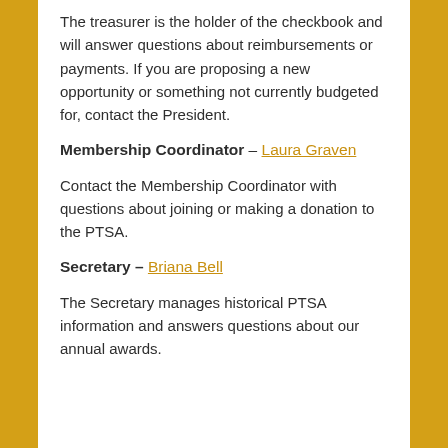The treasurer is the holder of the checkbook and will answer questions about reimbursements or payments. If you are proposing a new opportunity or something not currently budgeted for, contact the President.
Membership Coordinator – Laura Graven
Contact the Membership Coordinator with questions about joining or making a donation to the PTSA.
Secretary – Briana Bell
The Secretary manages historical PTSA information and answers questions about our annual awards.